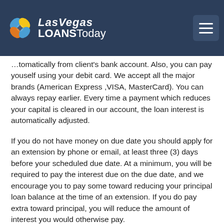Las Vegas LOANSToday
tomatically from client’s bank account. Also, you can pay youself using your debit card. We accept all the major brands (American Express ,VISA, MasterCard). You can always repay earlier. Every time a payment which reduces your capital is cleared in our account, the loan interest is automatically adjusted.
If you do not have money on due date you should apply for an extension by phone or email, at least three (3) days before your scheduled due date. At a minimum, you will be required to pay the interest due on the due date, and we encourage you to pay some toward reducing your principal loan balance at the time of an extension. If you do pay extra toward principal, you will reduce the amount of interest you would otherwise pay.
You may also cancel your payday loan if you notify us by 5:00